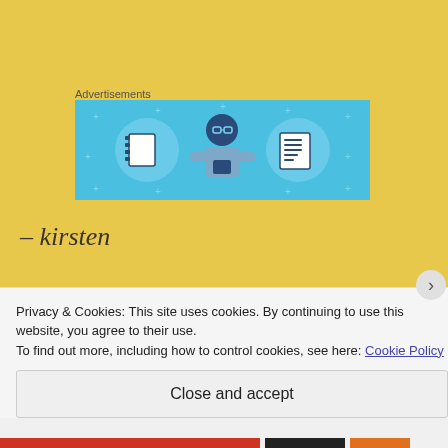Advertisements
[Figure (illustration): Advertisement banner with light blue background showing a stylized illustration of a person holding a phone, flanked by two circular icons — one with a blank notebook and one with a text/list document.]
– kirsten
Privacy & Cookies: This site uses cookies. By continuing to use this website, you agree to their use.
To find out more, including how to control cookies, see here: Cookie Policy
Close and accept